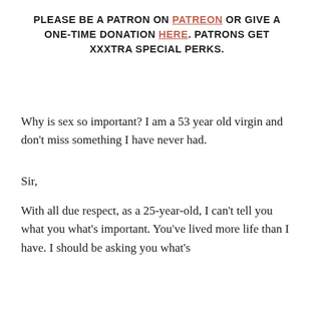PLEASE BE A PATRON ON PATREON OR GIVE A ONE-TIME DONATION HERE. PATRONS GET XXXTRA SPECIAL PERKS.
Why is sex so important? I am a 53 year old virgin and don't miss something I have never had.
Sir,

With all due respect, as a 25-year-old, I can't tell you what you what's important. You've lived more life than I have. I should be asking you what's